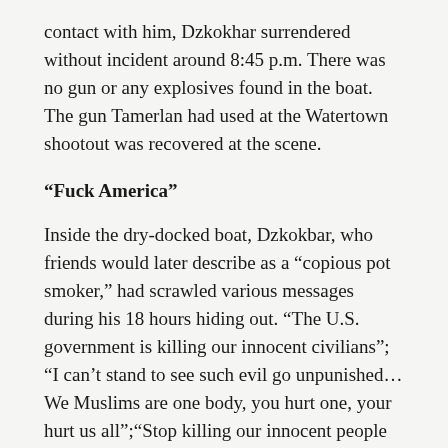contact with him, Dzkokhar surrendered without incident around 8:45 p.m. There was no gun or any explosives found in the boat. The gun Tamerlan had used at the Watertown shootout was recovered at the scene.
“Fuck America”
Inside the dry-docked boat, Dzkokbar, who friends would later describe as a “copious pot smoker,” had scrawled various messages during his 18 hours hiding out. “The U.S. government is killing our innocent civilians”; “I can’t stand to see such evil go unpunished…We Muslims are one body, you hurt one, your hurt us all”;“Stop killing our innocent people and we will stop;” “Fuck America.” He also wrote that he did not “like killing innocent people” because “it is forbidden by Islam,” but wrote that because of what had been done to Muslims such violence